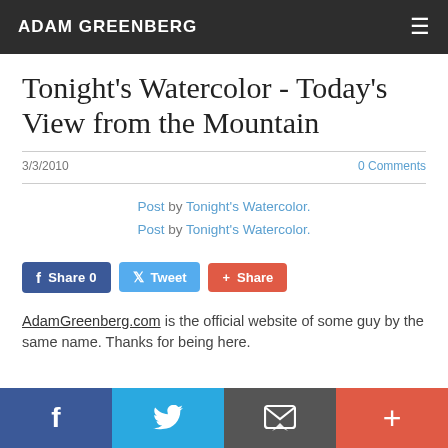ADAM GREENBERG
Tonight's Watercolor - Today's View from the Mountain
3/3/2010    0 Comments
Post by Tonight's Watercolor.
Post by Tonight's Watercolor.
Share 0   Tweet   Share
AdamGreenberg.com is the official website of some guy by the same name. Thanks for being here.
f  (Twitter bird)  (email icon)  +